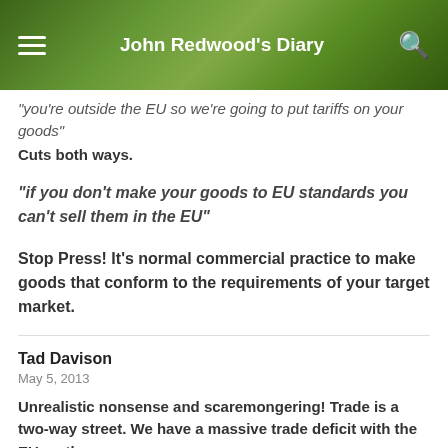John Redwood's Diary
“you’re outside the EU so we’re going to put tariffs on your goods”
Cuts both ways.
“if you don’t make your goods to EU standards you can’t sell them in the EU”
Stop Press! It’s normal commercial practice to make goods that conform to the requirements of your target market.
Tad Davison
May 5, 2013
Unrealistic nonsense and scaremongering! Trade is a two-way street. We have a massive trade deficit with the EU on the...